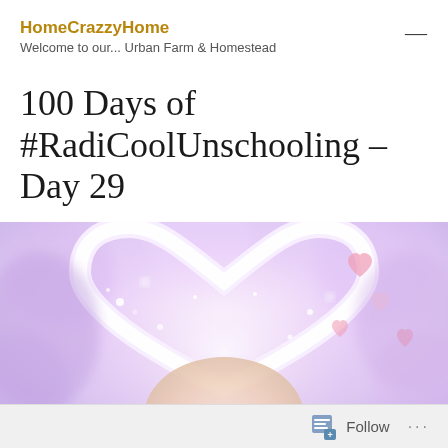HomeCrazzyHome — Welcome to our... Urban Farm & Homestead
100 Days of #RadiCoolUnschooling – Day 29
[Figure (photo): A child's face seen through a glowing heart-shaped frame with sparkles, bokeh light effects, and pink floating hearts on a soft purple/pink pastel background.]
Follow